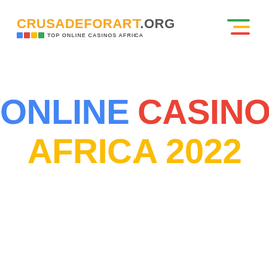CRUSADEFORART.ORG — TOP ONLINE CASINOS AFRICA
[Figure (other): Hamburger menu icon with three horizontal lines colored green, yellow, and red]
ONLINE CASINO SOUTH AFRICA 2022